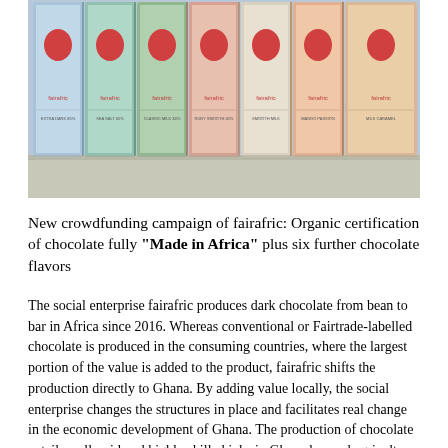[Figure (photo): A row of fairafric chocolate bars in various pastel-colored wrappers (blue, green, pink, peach, orange) with red Africa silhouette logos and the fairafric brand name, lined up on a flat surface.]
New crowdfunding campaign of fairafric: Organic certification of chocolate fully "Made in Africa" plus six further chocolate flavors
The social enterprise fairafric produces dark chocolate from bean to bar in Africa since 2016. Whereas conventional or Fairtrade-labelled chocolate is produced in the consuming countries, where the largest portion of the value is added to the product, fairafric shifts the production directly to Ghana. By adding value locally, the social enterprise changes the structures in place and facilitates real change in the economic development of Ghana. The production of chocolate entails well-paid and highly skilled jobs in Ghana beyond agriculture. Hendrik Reimers, founder of fairafric highlights “Every single chocolate bar can make a difference. Chocolate fully Made in Ghana brings five times the income to Ghana compared to conventional chocolate that is produced in consuming countries”